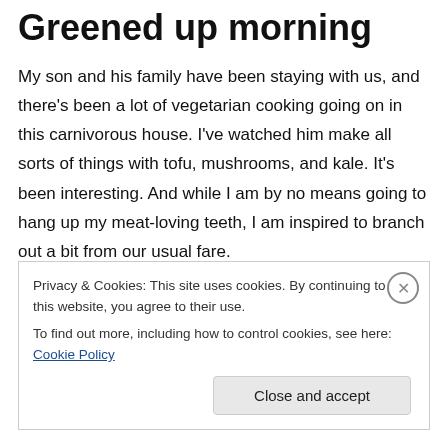Greened up morning
My son and his family have been staying with us, and there’s been a lot of vegetarian cooking going on in this carnivorous house. I’ve watched him make all sorts of things with tofu, mushrooms, and kale. It’s been interesting. And while I am by no means going to hang up my meat-loving teeth, I am inspired to branch out a bit from our usual fare.
Now, I’m not about to start eating fungus, but for the first time in my life, I planted kale (aka: buffet garnish) in the
Privacy & Cookies: This site uses cookies. By continuing to use this website, you agree to their use.
To find out more, including how to control cookies, see here: Cookie Policy